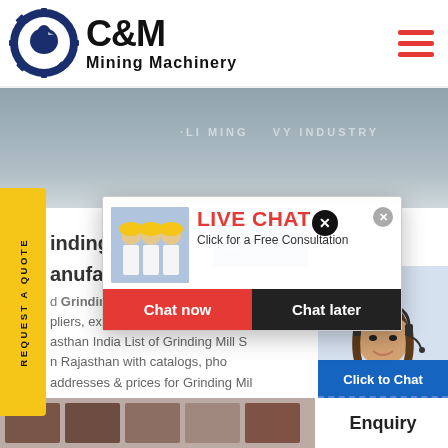[Figure (logo): C&M Mining Machinery logo with eagle/gear icon in navy blue circle, bold C&M text and Mining Machinery subtitle]
[Figure (screenshot): Website screenshot showing C&M Mining Machinery page with a live chat popup overlay, yellow REQUEST A QUOTE side tab, Hours badge, and customer service representative photo]
LIVE CHAT
Click for a Free Consultation
Chat now
Chat later
REQUEST A QUOTE
Hours
line
inding
anufa
d Grinding
pliers, exporters, wholesalers a
asthan India List of Grinding Mill S
n Rajasthan with catalogs, pho
addresses & prices for Grinding Mil
Click to Chat
Enquiry